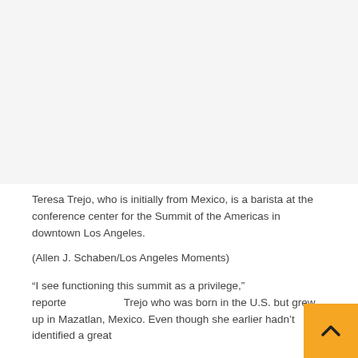[Figure (photo): Photo area - image of Teresa Trejo, a barista at the Summit of the Americas conference center]
Teresa Trejo, who is initially from Mexico, is a barista at the conference center for the Summit of the Americas in downtown Los Angeles.
(Allen J. Schaben/Los Angeles Moments)
“I see functioning this summit as a privilege,” reported Trejo who was born in the U.S. but grew up in Mazatlan, Mexico. Even though she earlier hadn’t identified a great